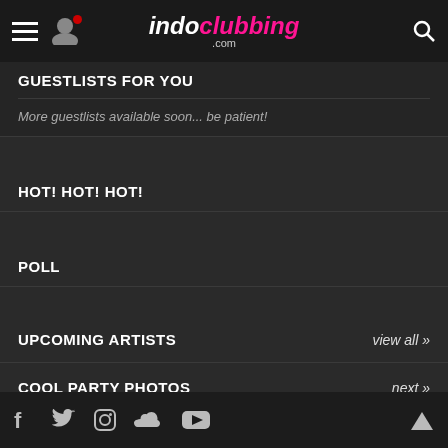indoclubbing.com
GUESTLISTS FOR YOU
More guestlists available soon... be patient!
HOT! HOT! HOT!
POLL
UPCOMING ARTISTS
view all »
COOL PARTY PHOTOS
next »
Social media icons: Facebook, Twitter, Instagram, SoundCloud, YouTube